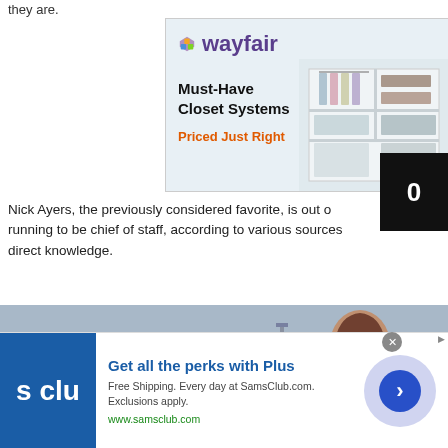they are.
[Figure (photo): Wayfair advertisement showing closet systems with logo and text: Must-Have Closet Systems, Priced Just Right]
Nick Ayers, the previously considered favorite, is out of running to be chief of staff, according to various sources direct knowledge.
[Figure (photo): Video thumbnail showing a woman outdoors with a play button overlay]
[Figure (photo): Sam's Club advertisement: Get all the perks with Plus. Free Shipping. Every day at SamsClub.com. Exclusions apply. www.samsclub.com]